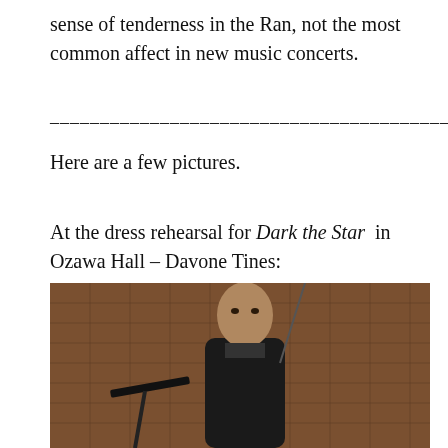sense of tenderness in the Ran, not the most common affect in new music concerts.
Here are a few pictures.
At the dress rehearsal for Dark the Star in Ozawa Hall – Davone Tines:
[Figure (photo): A man (Davone Tines) standing at a music stand in Ozawa Hall during a dress rehearsal, wearing a dark suit jacket, with wooden panel walls visible in the background.]